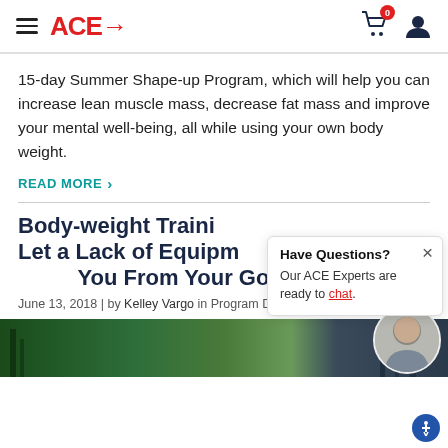ACE→
15-day Summer Shape-up Program, which will help you can increase lean muscle mass, decrease fat mass and improve your mental well-being, all while using your own body weight.
READ MORE >
Body-weight Training: Don't Let a Lack of Equipment Keep You From Your Goals
June 13, 2018 | by Kelley Vargo in Program Design
[Figure (photo): Outdoor gym/fitness area with equipment, person working out]
Have Questions? Our ACE Experts are ready to chat.